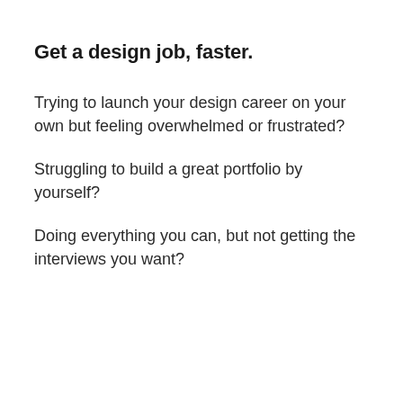Get a design job, faster.
Trying to launch your design career on your own but feeling overwhelmed or frustrated?
Struggling to build a great portfolio by yourself?
Doing everything you can, but not getting the interviews you want?